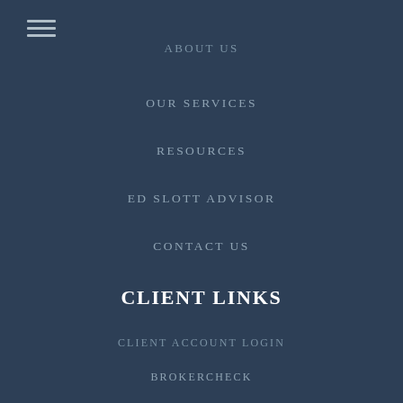[Figure (other): Hamburger menu icon with three horizontal lines]
ABOUT US
OUR SERVICES
RESOURCES
ED SLOTT ADVISOR
CONTACT US
CLIENT LINKS
CLIENT ACCOUNT LOGIN
BROKERCHECK
RESOURCES
MARKET COMMENTARY